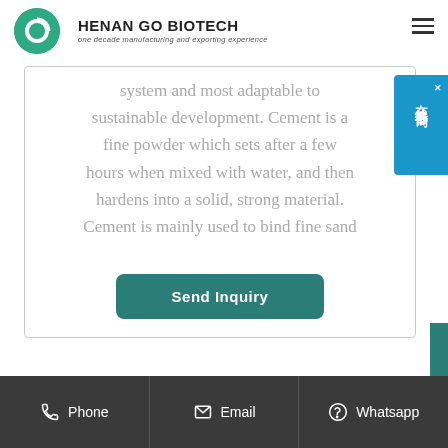HENAN GO BIOTECH — one decade manufacturing and exporting experience
system and most adaptable to sustainable development. Cement is a fine powder which sets after a few hours when mixed with water, and then hardens into a solid, strong material. Cement is mainly used to bind fine sand
Send Inquiry
Phone | Email | Whatsapp